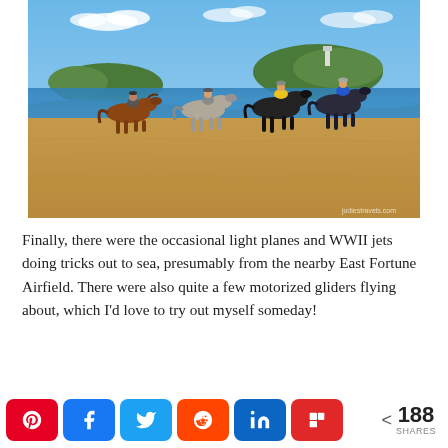[Figure (photo): Horse riders on a sandy beach with blue sea and rocky islands in the background under a blue sky with light clouds. Watermark: 'jodiestravels.com']
Finally, there were the occasional light planes and WWII jets doing tricks out to sea, presumably from the nearby East Fortune Airfield. There were also quite a few motorized gliders flying about, which I'd love to try out myself someday!